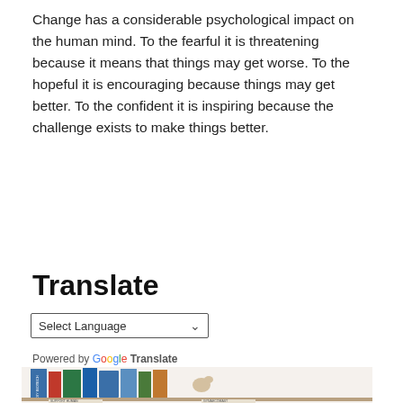Change has a considerable psychological impact on the human mind. To the fearful it is threatening because it means that things may get worse. To the hopeful it is encouraging because things may get better. To the confident it is inspiring because the challenge exists to make things better.
Translate
[Figure (screenshot): A language selector widget showing 'Select Language' dropdown with a chevron arrow, labeled 'Powered by Google Translate' below.]
[Figure (illustration): A cartoon illustration of a mouse or small animal sitting among a cluttered bookshelf with books including 'DIY Biotechnology', 'Concise Herbal', 'The Illustrated Guide to Cytogenetics', and newspapers labeled 'Support Human' and 'Gynaecomast'.]